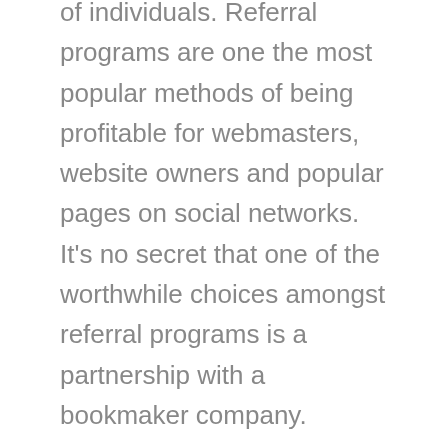of individuals. Referral programs are one the most popular methods of being profitable for webmasters, website owners and popular pages on social networks. It's no secret that one of the worthwhile choices amongst referral programs is a partnership with a bookmaker company.
When you win a wager, the funds are transferred to your account routinely. The company has been serving the needs of customers for a while, to not point out it has full certification for operation in Curacao. The web site has been growing in popularity and has been reaching more international locations over time. The assortment of games, robust security, and helpful bonuses make it one of the more